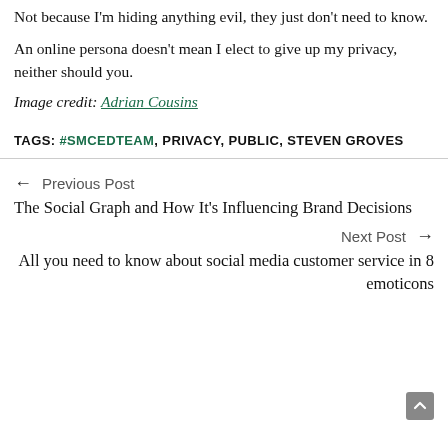Not because I'm hiding anything evil, they just don't need to know.
An online persona doesn't mean I elect to give up my privacy, neither should you.
Image credit: Adrian Cousins
TAGS: #SMCEDTEAM, PRIVACY, PUBLIC, STEVEN GROVES
← Previous Post
The Social Graph and How It's Influencing Brand Decisions
Next Post →
All you need to know about social media customer service in 8 emoticons